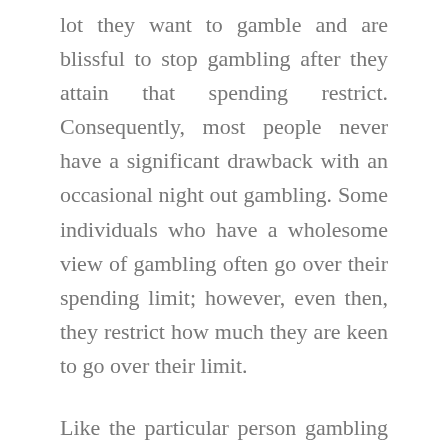lot they want to gamble and are blissful to stop gambling after they attain that spending restrict. Consequently, most people never have a significant drawback with an occasional night out gambling. Some individuals who have a wholesome view of gambling often go over their spending limit; however, even then, they restrict how much they are keen to go over their limit.
Like the particular person gambling for fun, the person obsessed with gambling normally units preliminary spending restrict; however, as a rule, he goes over that limit, ceaselessly to their extreme detriment. Getting caught up in the presumed thrill of taking the gamble, the person obsessive